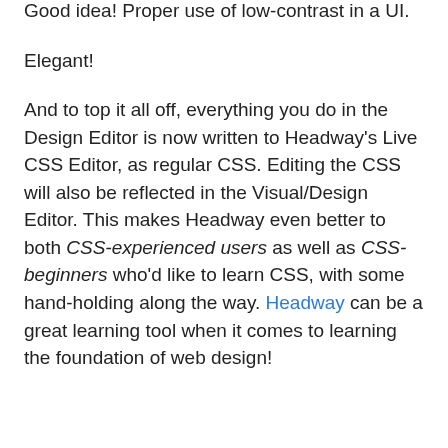made the design controls so low contrast?! I then realized it was, of course, by design. Good idea! Proper use of low-contrast in a UI.
Elegant!
And to top it all off, everything you do in the Design Editor is now written to Headway's Live CSS Editor, as regular CSS. Editing the CSS will also be reflected in the Visual/Design Editor. This makes Headway even better to both CSS-experienced users as well as CSS-beginners who'd like to learn CSS, with some hand-holding along the way. Headway can be a great learning tool when it comes to learning the foundation of web design!